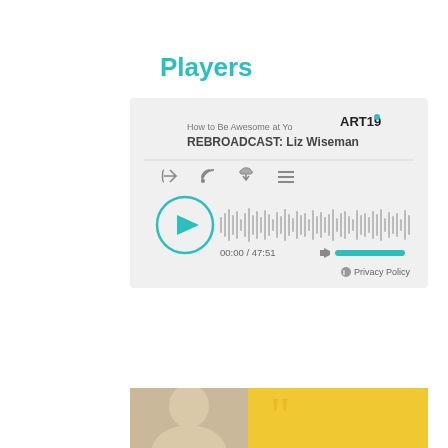Players
[Figure (screenshot): ART19 podcast player widget showing episode 'REBROADCAST: Liz Wiseman' from 'How to Be Awesome at Yo...' podcast. Shows play button, waveform, time 00:00 / 47:51, volume control, and Privacy Policy link.]
[Figure (photo): Bottom portion of page showing a person's photo on the left and a yellow/gold background with quote marks on the right.]